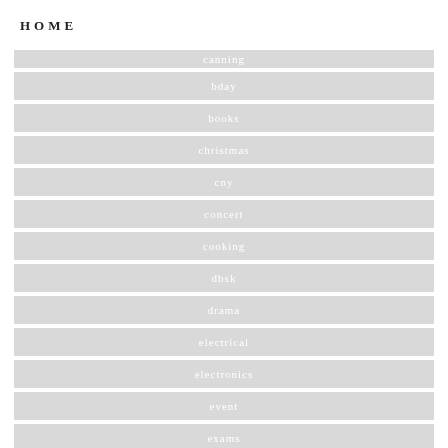HOME
canning
bday
books
christmas
cny
concert
cooking
dbsk
drama
electrical
electronics
event
exams
food
goodies